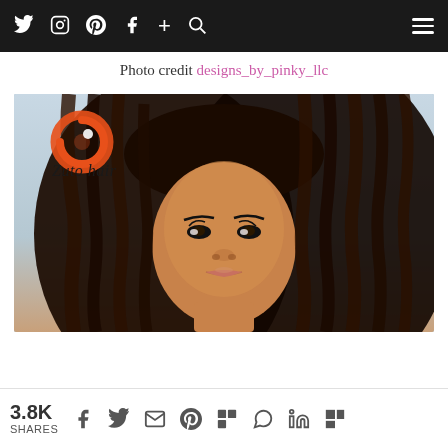Navigation bar with social icons: Twitter, Instagram, Pinterest, Facebook, Plus, Search, and hamburger menu
Photo credit designs_by_pinky_llc
[Figure (photo): Photo of a woman with long dark faux locs hairstyle, wearing makeup, with a Zuto Hair logo watermark in the upper left corner of the image. Background is light grey/blue. The logo is an orange circular design with Zuto hair text in cursive below it.]
3.8K SHARES — share icons: Facebook, Twitter, Email, Pinterest, Mix, WhatsApp, LinkedIn, Flipboard